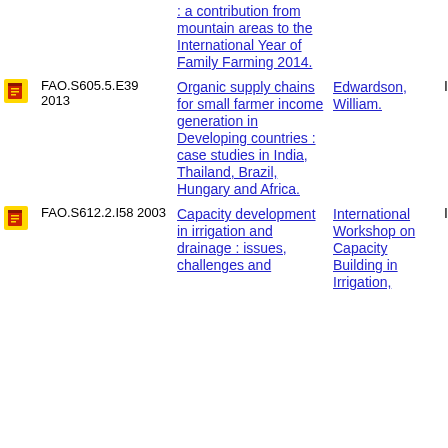| Icon | Call Number | Title | Author | Status |
| --- | --- | --- | --- | --- |
| [book icon] |  | : a contribution from mountain areas to the International Year of Family Farming 2014. |  |  |
| [book icon] | FAO.S605.5.E39 2013 | Organic supply chains for small farmer income generation in Developing countries : case studies in India, Thailand, Brazil, Hungary and Africa. | Edwardson, William. | IN |
| [book icon] | FAO.S612.2.I58 2003 | Capacity development in irrigation and drainage : issues, challenges and ... | International Workshop on Capacity Building in Irrigation, | IN |